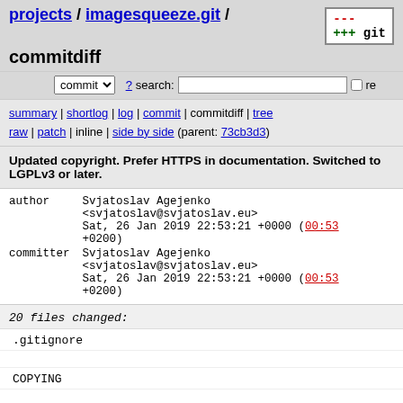projects / imagesqueeze.git / commitdiff
summary | shortlog | log | commit | commitdiff | tree
raw | patch | inline | side by side (parent: 73cb3d3)
Updated copyright. Prefer HTTPS in documentation. Switched to LGPLv3 or later.
| field | value |
| --- | --- |
| author | Svjatoslav Agejenko <svjatoslav@svjatoslav.eu>
Sat, 26 Jan 2019 22:53:21 +0000 (00:53 +0200) |
| committer | Svjatoslav Agejenko <svjatoslav@svjatoslav.eu>
Sat, 26 Jan 2019 22:53:21 +0000 (00:53 +0200) |
20 files changed:
.gitignore
COPYING